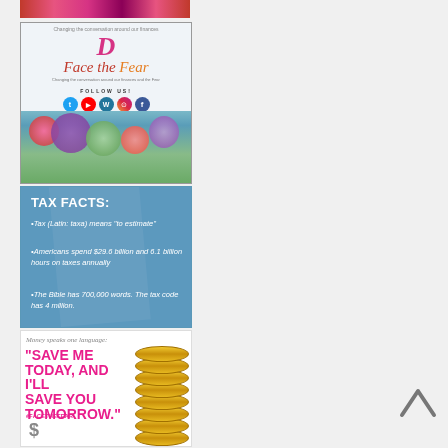[Figure (photo): Floral pattern banner at top — pink and red flowers]
[Figure (photo): Face the Fear blog/brand promotional image with logo, social media icons (Twitter, YouTube, WordPress, Instagram, Facebook), and floral arrangement background]
[Figure (infographic): Tax Facts infographic on blue background: Tax (Latin: taxa) means 'to estimate'; Americans spend $29.6 billion and 6.1 billion hours on taxes annually; The Bible has 700,000 words. The tax code has 4 million.]
[Figure (infographic): Money quote infographic: 'Money speaks one language: SAVE ME TODAY, AND I'LL SAVE YOU TOMORROW.' #FACETHEFEAR with dollar sign and stacked gold coins]
[Figure (other): Back-to-top navigation arrow (chevron up) in gray on right side]